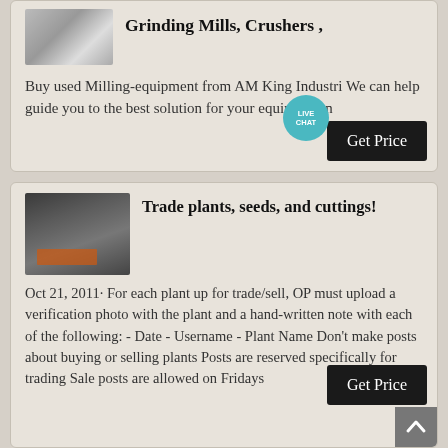[Figure (photo): Industrial milling equipment photo thumbnail]
Grinding Mills, Crushers ,
Buy used Milling-equipment from AM King Industri We can help guide you to the best solution for your equipment n
[Figure (photo): Industrial facility with workers in orange vests and hard hats near large equipment]
Trade plants, seeds, and cuttings!
Oct 21, 2011· For each plant up for trade/sell, OP must upload a verification photo with the plant and a hand-written note with each of the following: - Date - Username - Plant Name Don't make posts about buying or selling plants Posts are reserved specifically for trading Sale posts are allowed on Fridays